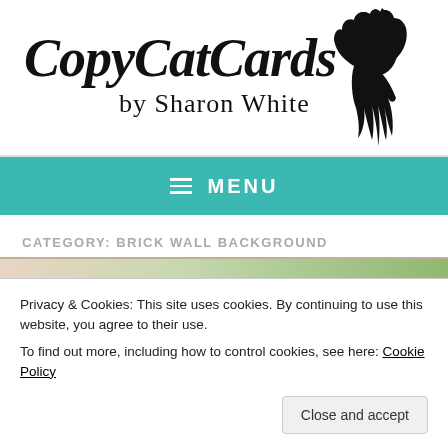[Figure (logo): CopyCatCards by Sharon White logo with stylized script text and a black cat silhouette]
≡ MENU
CATEGORY: BRICK WALL BACKGROUND
[Figure (photo): Partial photo strip showing floral/nature image]
Privacy & Cookies: This site uses cookies. By continuing to use this website, you agree to their use.
To find out more, including how to control cookies, see here: Cookie Policy
Close and accept
Inspiration